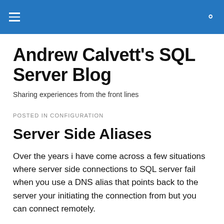Andrew Calvett's SQL Server Blog — navigation header
Andrew Calvett's SQL Server Blog
Sharing experiences from the front lines
POSTED IN CONFIGURATION
Server Side Aliases
Over the years i have come across a few situations where server side connections to SQL server fail when you use a DNS alias that points back to the server your initiating the connection from but you can connect remotely.